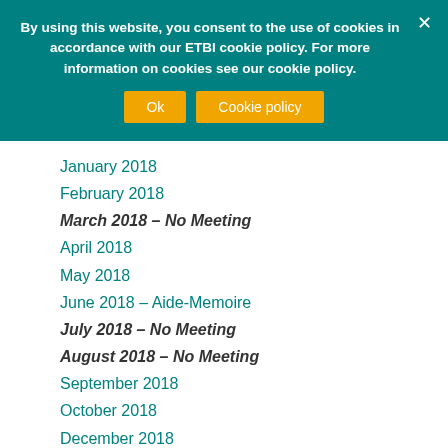By using this website, you consent to the use of cookies in accordance with our ETBI cookie policy. For more information on cookies see our cookie policy.
January 2018
February 2018
March 2018 – No Meeting
April 2018
May 2018
June 2018 – Aide-Memoire
July 2018 – No Meeting
August 2018 – No Meeting
September 2018
October 2018
December 2018
2019